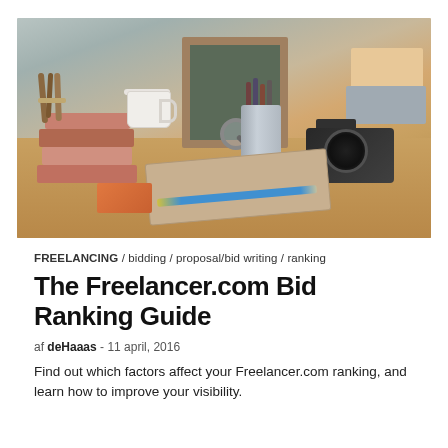[Figure (photo): A styled flat-lay desk scene with books, a white teacup, a chalkboard, pencil cup, camera, storage boxes, a notebook, a blue pencil, and a magnifying glass on a wooden surface.]
FREELANCING / bidding / proposal/bid writing / ranking
The Freelancer.com Bid Ranking Guide
af deHaaas - 11 april, 2016
Find out which factors affect your Freelancer.com ranking, and learn how to improve your visibility.